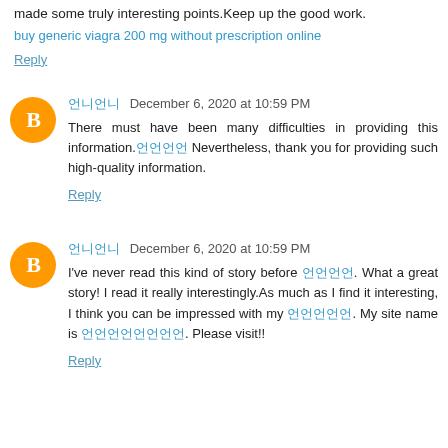made some truly interesting points.Keep up the good work.
buy generic viagra 200 mg without prescription online
Reply
언니언니 December 6, 2020 at 10:59 PM
There must have been many difficulties in providing this information.언언언언 Nevertheless, thank you for providing such high-quality information.
Reply
언니언니 December 6, 2020 at 10:59 PM
I've never read this kind of story before 언언언언. What a great story! I read it really interestingly.As much as I find it interesting, I think you can be impressed with my 언언언언언. My site name is 언언언언언언언언. Please visit!!
Reply